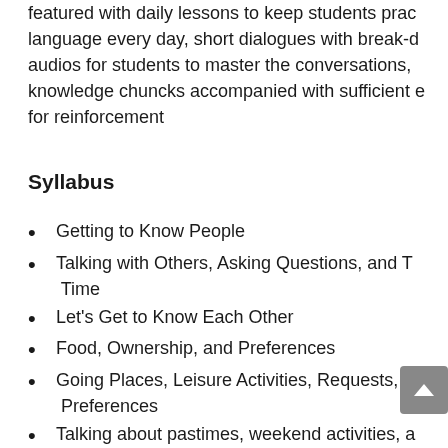featured with daily lessons to keep students practicing language every day, short dialogues with break-down audios for students to master the conversations, knowledge chuncks accompanied with sufficient exercises for reinforcement
Syllabus
Getting to Know People
Talking with Others, Asking Questions, and Telling Time
Let's Get to Know Each Other
Food, Ownership, and Preferences
Going Places, Leisure Activities, Requests, and Preferences
Talking about pastimes, weekend activities, and ...
What People are Doing Right Now and Descr...